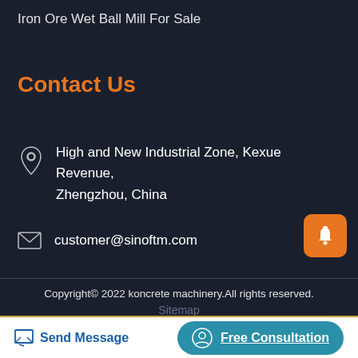Iron Ore Wet Ball Mill For Sale
Contact Us
High and New Industrial Zone, Kexue Revenue, Zhengzhou, China
customer@sinoftm.com
Copyright© 2022 koncrete machinery.All rights reserved.
Sitemap
Send Message
Free Consultation